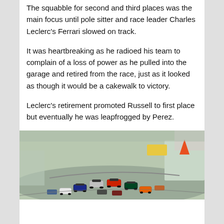The squabble for second and third places was the main focus until pole sitter and race leader Charles Leclerc's Ferrari slowed on track.
It was heartbreaking as he radioed his team to complain of a loss of power as he pulled into the garage and retired from the race, just as it looked as though it would be a cakewalk to victory.
Leclerc's retirement promoted Russell to first place but eventually he was leapfrogged by Perez.
[Figure (photo): A photo of Formula 1 cars racing on track, viewed from above/behind, showing multiple cars bunched together at what appears to be the start of a race, with track barriers and spectators visible in the background.]